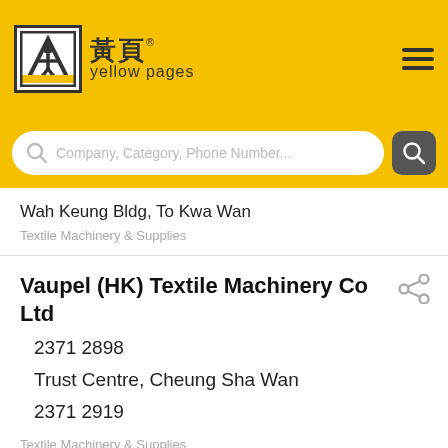黃頁 yellow pages — header with logo and search bar
Wah Keung Bldg, To Kwa Wan
Textile Machinery & Supplies
Vaupel (HK) Textile Machinery Co Ltd
2371 2898
Trust Centre, Cheung Sha Wan
2371 2919
Textile Machinery & Supplies